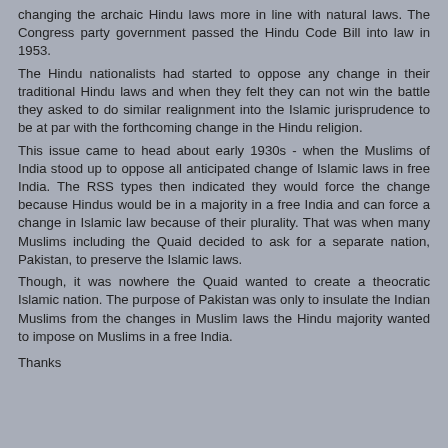changing the archaic Hindu laws more in line with natural laws. The Congress party government passed the Hindu Code Bill into law in 1953.
The Hindu nationalists had started to oppose any change in their traditional Hindu laws and when they felt they can not win the battle they asked to do similar realignment into the Islamic jurisprudence to be at par with the forthcoming change in the Hindu religion.
This issue came to head about early 1930s - when the Muslims of India stood up to oppose all anticipated change of Islamic laws in free India. The RSS types then indicated they would force the change because Hindus would be in a majority in a free India and can force a change in Islamic law because of their plurality. That was when many Muslims including the Quaid decided to ask for a separate nation, Pakistan, to preserve the Islamic laws.
Though, it was nowhere the Quaid wanted to create a theocratic Islamic nation. The purpose of Pakistan was only to insulate the Indian Muslims from the changes in Muslim laws the Hindu majority wanted to impose on Muslims in a free India.
Thanks